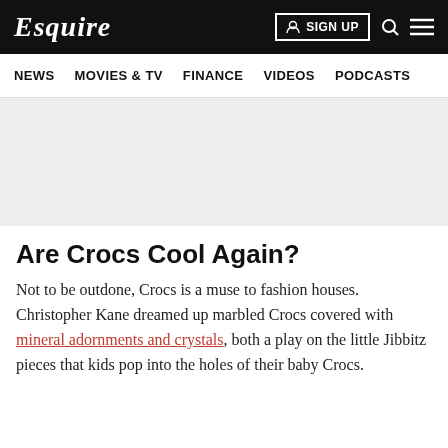Esquire | SIGN UP
NEWS  MOVIES & TV  FINANCE  VIDEOS  PODCASTS
[Figure (other): Gray advertisement/banner placeholder area]
Are Crocs Cool Again?
Not to be outdone, Crocs is a muse to fashion houses. Christopher Kane dreamed up marbled Crocs covered with mineral adornments and crystals, both a play on the little Jibbitz pieces that kids pop into the holes of their baby Crocs.